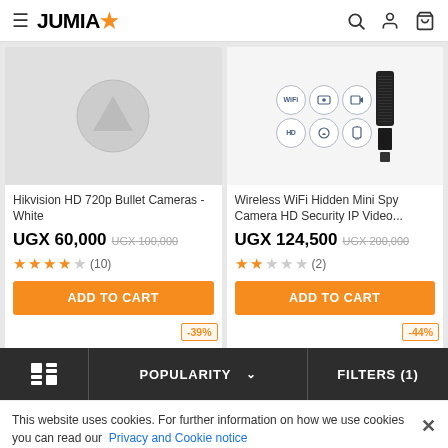JUMIA
[Figure (screenshot): Hikvision HD 720p Bullet Camera product image placeholder on grey background]
Hikvision HD 720p Bullet Cameras - White
UGX 60,000 UGX 100,000
★★★★☆ (10)
ADD TO CART
[Figure (screenshot): Wireless WiFi Hidden Mini Spy Camera with feature icons (WiFi, camera, video, HD, Android, Apple)]
Wireless WiFi Hidden Mini Spy Camera HD Security IP Video...
UGX 124,500 UGX 200,000
★★☆☆☆ (2)
ADD TO CART
-39%
-44%
POPULARITY  ∨   FILTERS (1)
This website uses cookies. For further information on how we use cookies you can read our Privacy and Cookie notice